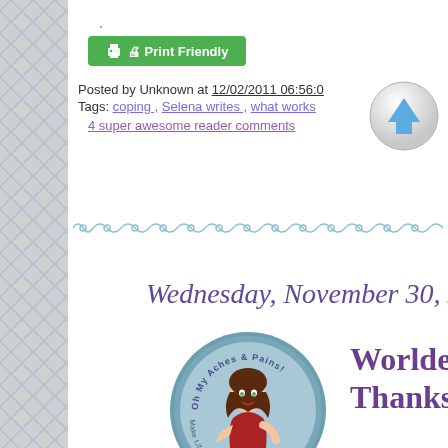[Figure (other): Print Friendly green button with printer icon]
Posted by Unknown at 12/02/2011 06:56:0
Tags: coping , Selena writes , what works
4 super awesome reader comments
[Figure (other): Grey circular up-arrow navigation button]
[Figure (other): Decorative teal/blue ornamental divider line]
Wednesday, November 30, 2011
[Figure (logo): Oh My Aches & Pains circular logo with cartoon woman and text Make Life Better Despite Chronic Illness]
Wordless We Thanksgiving